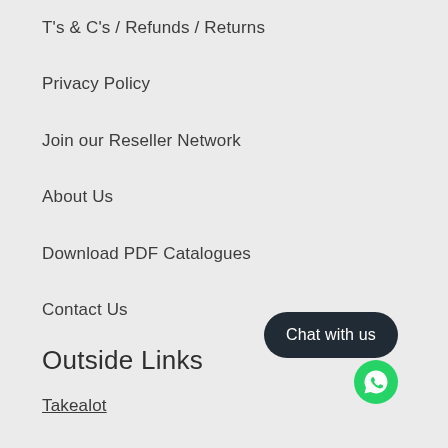T's & C's / Refunds / Returns
Privacy Policy
Join our Reseller Network
About Us
Download PDF Catalogues
Contact Us
Outside Links
Takealot
[Figure (other): Dark rounded rectangle button with text 'Chat with us' and a WhatsApp icon below it]